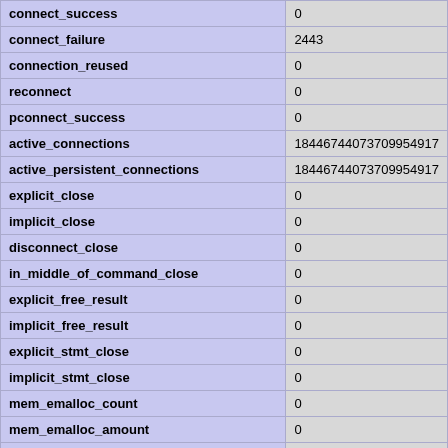|  |  |
| --- | --- |
| connect_success | 0 |
| connect_failure | 2443 |
| connection_reused | 0 |
| reconnect | 0 |
| pconnect_success | 0 |
| active_connections | 18446744073709954917 |
| active_persistent_connections | 18446744073709954917 |
| explicit_close | 0 |
| implicit_close | 0 |
| disconnect_close | 0 |
| in_middle_of_command_close | 0 |
| explicit_free_result | 0 |
| implicit_free_result | 0 |
| explicit_stmt_close | 0 |
| implicit_stmt_close | 0 |
| mem_emalloc_count | 0 |
| mem_emalloc_amount | 0 |
| mem_ecalloc_count | 0 |
| mem_ecalloc_amount | 0 |
| mem_erealloc_count | 0 |